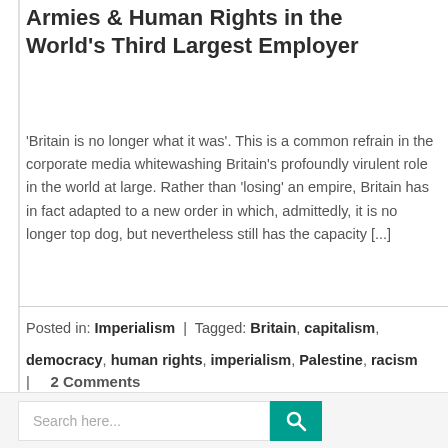Armies & Human Rights in the World's Third Largest Employer
'Britain is no longer what it was'. This is a common refrain in the corporate media whitewashing Britain's profoundly virulent role in the world at large. Rather than 'losing' an empire, Britain has in fact adapted to a new order in which, admittedly, it is no longer top dog, but nevertheless still has the capacity [...]
Posted in: Imperialism | Tagged: Britain, capitalism, democracy, human rights, imperialism, Palestine, racism
| 2 Comments